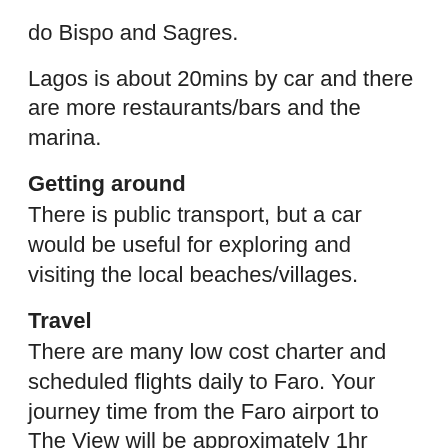do Bispo and Sagres.
Lagos is about 20mins by car and there are more restaurants/bars and the marina.
Getting around
There is public transport, but a car would be useful for exploring and visiting the local beaches/villages.
Travel
There are many low cost charter and scheduled flights daily to Faro. Your journey time from the Faro airport to The View will be approximately 1hr (100km) by car. Directions will be provided. Please note the main motorway to the Western Algarve (IP1) has introduced tolls, please enquire with your car hire company for more information.